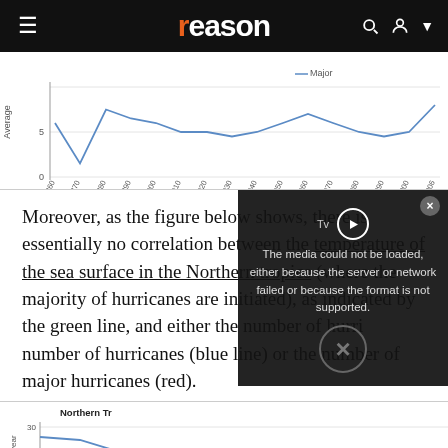reason
[Figure (line-chart): Line chart showing average number of major hurricanes per decade from 1851-1860 to 2001-2006, with values fluctuating around 5, dipping near 1 around 1861-1870 and rising at end.]
Moreover, as the figure below shows, there is essentially no correlation between the temperature of the sea surface in the Northern tropics (where the majority of hurricanes are initiated), as indicated by the green line, and either the number of hurricanes (blue line) or the number of major hurricanes (red).
[Figure (line-chart): Line chart showing Northern Tropics sea surface temperature (green), hurricanes per year (blue), and major hurricanes (red) over time. Y-axis shows values 20-30 per year. Chart is partially obscured by video overlay error message.]
[Figure (screenshot): Video player error overlay reading: The media could not be loaded, either because the server or network failed or because the format is not supported.]